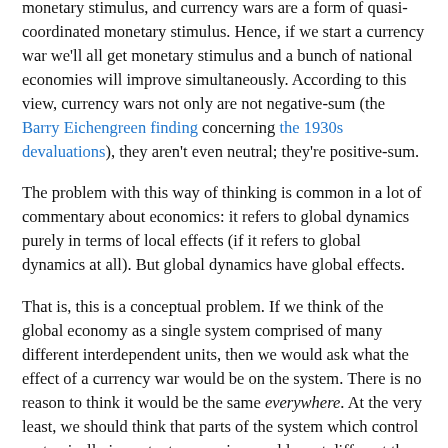monetary stimulus, and currency wars are a form of quasi-coordinated monetary stimulus. Hence, if we start a currency war we'll all get monetary stimulus and a bunch of national economies will improve simultaneously. According to this view, currency wars not only are not negative-sum (the Barry Eichengreen finding concerning the 1930s devaluations), they aren't even neutral; they're positive-sum.
The problem with this way of thinking is common in a lot of commentary about economics: it refers to global dynamics purely in terms of local effects (if it refers to global dynamics at all). But global dynamics have global effects.
That is, this is a conceptual problem. If we think of the global economy as a single system comprised of many different interdependent units, then we would ask what the effect of a currency war would be on the system. There is no reason to think it would be the same everywhere. At the very least, we should think that parts of the system which control systemically important currencies would react different than parts of the system which do not. If we conceptualize the global economy in terms of the units, and not the interdependencies between them, then we end up only